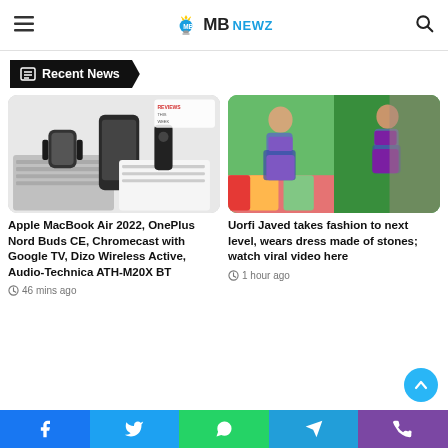MBNewz
Recent News
[Figure (photo): Tech products flatlay: MacBook keyboard, Apple Watch, iPhone, Apple TV remote, mouse, and accessories on white background with a Reviews badge]
Apple MacBook Air 2022, OnePlus Nord Buds CE, Chromecast with Google TV, Dizo Wireless Active, Audio-Technica ATH-M20X BT
46 mins ago
[Figure (photo): Two photos of Uorfi Javed wearing a floral bikini/dress made of stones, posed outdoors with colorful cushions in background]
Uorfi Javed takes fashion to next level, wears dress made of stones; watch viral video here
1 hour ago
Facebook | Twitter | WhatsApp | Telegram | Phone